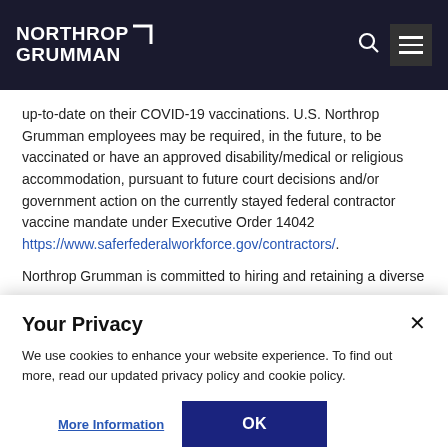NORTHROP GRUMMAN
up-to-date on their COVID-19 vaccinations. U.S. Northrop Grumman employees may be required, in the future, to be vaccinated or have an approved disability/medical or religious accommodation, pursuant to future court decisions and/or government action on the currently stayed federal contractor vaccine mandate under Executive Order 14042 https://www.saferfederalworkforce.gov/contractors/.
Northrop Grumman is committed to hiring and retaining a diverse
Your Privacy
We use cookies to enhance your website experience. To find out more, read our updated privacy policy and cookie policy.
More Information
OK